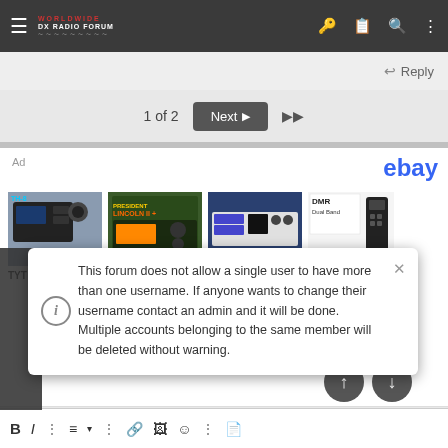Worldwide Radio Forum
Reply
1 of 2  Next ▶▶
[Figure (screenshot): eBay ad banner showing four radio products: TYT TH8600, President Lincoln II+, Ranger RCI-8500, AnyTone D878UV. AnyTone listed at $270.00 Free Shipping.]
This forum does not allow a single user to have more than one username. If anyone wants to change their username contact an admin and it will be done. Multiple accounts belonging to the same member will be deleted without warning.
B  I  ⋮  ≡▾  ⋮  🔗  🖼  😊  ⋮  📄